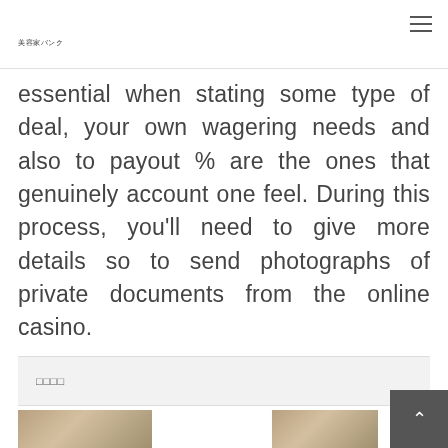美容家バンク
essential when stating some type of deal, your own wagering needs and also to payout % are the ones that genuinely account one feel. During this process, you'll need to give more details so to send photographs of private documents from the online casino.
□□□□
[Figure (photo): Room interior photo thumbnail 1]
[Figure (photo): Room interior photo thumbnail 2]